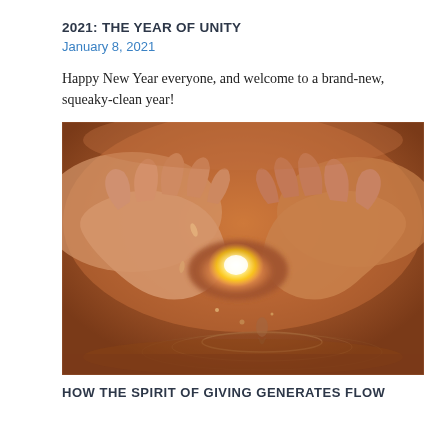2021: THE YEAR OF UNITY
January 8, 2021
Happy New Year everyone, and welcome to a brand-new, squeaky-clean year!
[Figure (photo): Two cupped hands holding glowing water or light, with water rippling below, warm orange and golden tones]
HOW THE SPIRIT OF GIVING GENERATES FLOW